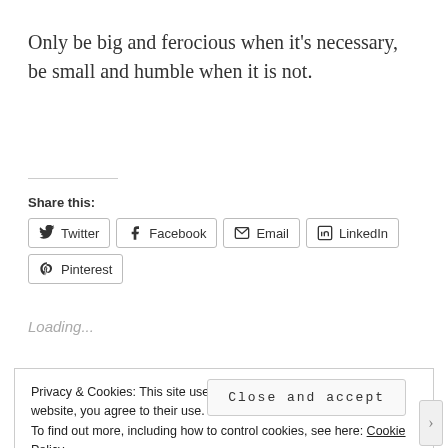Only be big and ferocious when it's necessary, be small and humble when it is not.
Share this:
Twitter Facebook Email LinkedIn Pinterest
Loading...
Privacy & Cookies: This site uses cookies. By continuing to use this website, you agree to their use.
To find out more, including how to control cookies, see here: Cookie Policy
Close and accept